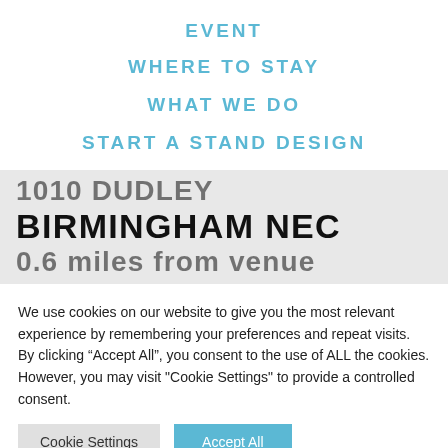EVENT
WHERE TO STAY
WHAT WE DO
START A STAND DESIGN
BIRMINGHAM NEC
0.6 miles from venue
We use cookies on our website to give you the most relevant experience by remembering your preferences and repeat visits. By clicking “Accept All”, you consent to the use of ALL the cookies. However, you may visit "Cookie Settings" to provide a controlled consent.
Cookie Settings | Accept All